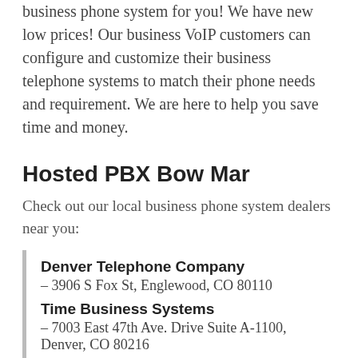business phone system for you! We have new low prices! Our business VoIP customers can configure and customize their business telephone systems to match their phone needs and requirement. We are here to help you save time and money.
Hosted PBX Bow Mar
Check out our local business phone system dealers near you:
Denver Telephone Company – 3906 S Fox St, Englewood, CO 80110
Time Business Systems – 7003 East 47th Ave. Drive Suite A-1100, Denver, CO 80216
THE OFFICE PHONE – 6804 48th Ave STE H, Denver, CO 80216